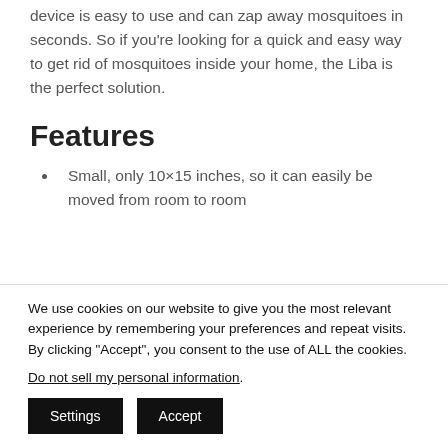love the Liba Indoor Bug Zapper. This little device is easy to use and can zap away mosquitoes in seconds. So if you're looking for a quick and easy way to get rid of mosquitoes inside your home, the Liba is the perfect solution.
Features
Small, only 10×15 inches, so it can easily be moved from room to room
We use cookies on our website to give you the most relevant experience by remembering your preferences and repeat visits. By clicking "Accept", you consent to the use of ALL the cookies.
Do not sell my personal information.